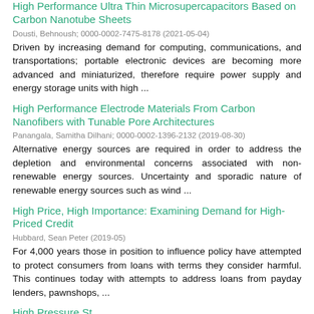High Performance Ultra Thin Microsupercapacitors Based on Carbon Nanotube Sheets
Dousti, Behnoush; 0000-0002-7475-8178 (2021-05-04)
Driven by increasing demand for computing, communications, and transportations; portable electronic devices are becoming more advanced and miniaturized, therefore require power supply and energy storage units with high ...
High Performance Electrode Materials From Carbon Nanofibers with Tunable Pore Architectures
Panangala, Samitha Dilhani; 0000-0002-1396-2132 (2019-08-30)
Alternative energy sources are required in order to address the depletion and environmental concerns associated with non-renewable energy sources. Uncertainty and sporadic nature of renewable energy sources such as wind ...
High Price, High Importance: Examining Demand for High-Priced Credit
Hubbard, Sean Peter (2019-05)
For 4,000 years those in position to influence policy have attempted to protect consumers from loans with terms they consider harmful. This continues today with attempts to address loans from payday lenders, pawnshops, ...
High Pressure St...B...S...Pressure S...